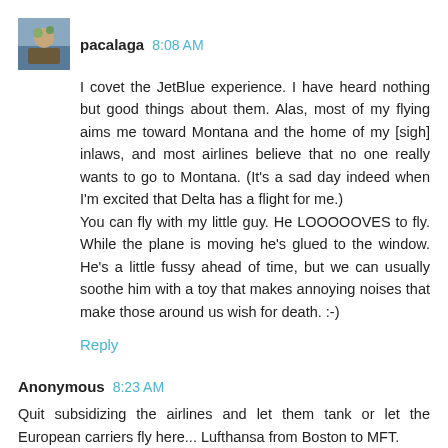pacalaga 8:08 AM
I covet the JetBlue experience. I have heard nothing but good things about them. Alas, most of my flying aims me toward Montana and the home of my [sigh] inlaws, and most airlines believe that no one really wants to go to Montana. (It's a sad day indeed when I'm excited that Delta has a flight for me.)
You can fly with my little guy. He LOOOOOVES to fly. While the plane is moving he's glued to the window. He's a little fussy ahead of time, but we can usually soothe him with a toy that makes annoying noises that make those around us wish for death. :-)
Reply
Anonymous 8:23 AM
Quit subsidizing the airlines and let them tank or let the European carriers fly here... Lufthansa from Boston to MFT.
Adopt my favorite solution: high speed rail a la Japan and